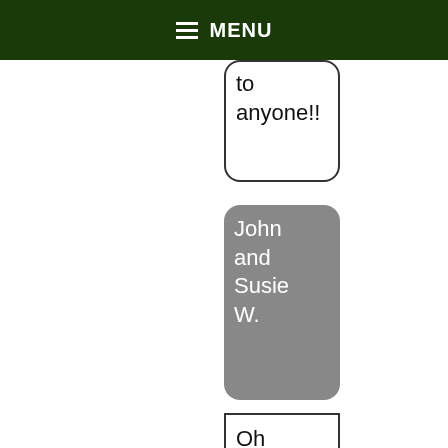MENU
to anyone!!
John and Susie W.
Oh my gosh I have the most beautiful